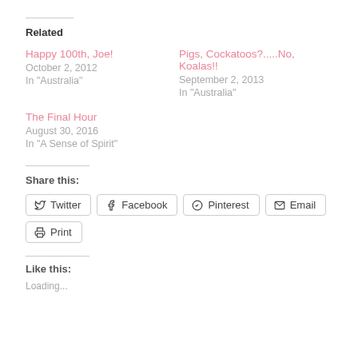Related
Happy 100th, Joe!
October 2, 2012
In "Australia"
Pigs, Cockatoos?.....No, Koalas!!
September 2, 2013
In "Australia"
The Final Hour
August 30, 2016
In "A Sense of Spirit"
Share this:
Twitter
Facebook
Pinterest
Email
Print
Like this: